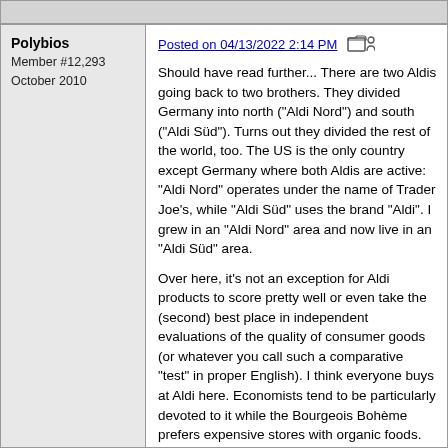Polybios
Member #12,293
October 2010
Posted on 04/13/2022 2:14 PM
Should have read further... There are two Aldis going back to two brothers. They divided Germany into north ("Aldi Nord") and south ("Aldi Süd"). Turns out they divided the rest of the world, too. The US is the only country except Germany where both Aldis are active: "Aldi Nord" operates under the name of Trader Joe's, while "Aldi Süd" uses the brand "Aldi". I grew in an "Aldi Nord" area and now live in an "Aldi Süd" area.
Over here, it's not an exception for Aldi products to score pretty well or even take the (second) best place in independent evaluations of the quality of consumer goods (or whatever you call such a comparative "test" in proper English). I think everyone buys at Aldi here. Economists tend to be particularly devoted to it while the Bourgeois Bohème prefers expensive stores with organic foods.